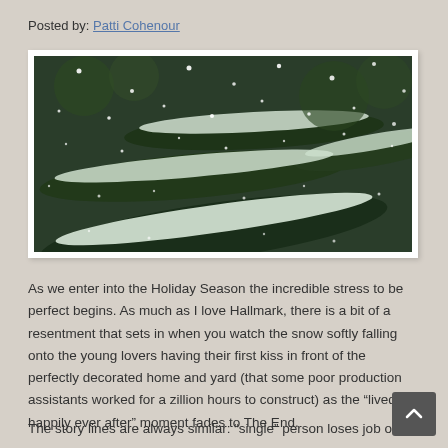Posted by: Patti Cohenour
[Figure (photo): Snow falling on pine tree branches covered in snow, dark green foliage background with snow particles visible]
As we enter into the Holiday Season the incredible stress to be perfect begins. As much as I love Hallmark, there is a bit of a resentment that sets in when you watch the snow softly falling onto the young lovers having their first kiss in front of the perfectly decorated home and yard (that some poor production assistants worked for a zillion hours to construct) as the “lived happily ever after” moment fades to The End.
The story lines are always similar: “single” person loses job or …